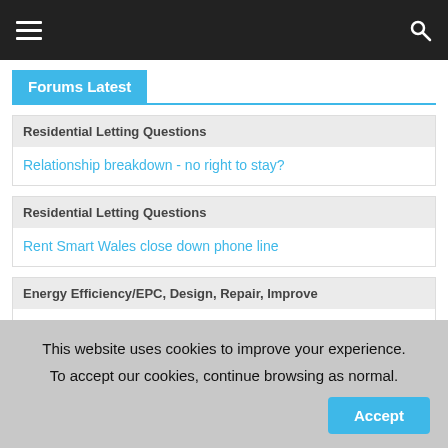Navigation bar with hamburger menu and search icon
Forums Latest
Residential Letting Questions
Relationship breakdown - no right to stay?
Residential Letting Questions
Rent Smart Wales close down phone line
Energy Efficiency/EPC, Design, Repair, Improve
Wil spending 4k laying carpets on top of parque/laminate/e.wood increase the EPC?
This website uses cookies to improve your experience. To accept our cookies, continue browsing as normal.